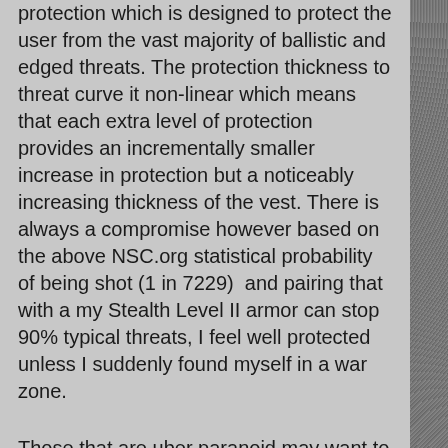protection which is designed to protect the user from the vast majority of ballistic and edged threats. The protection thickness to threat curve it non-linear which means that each extra level of protection provides an incrementally smaller increase in protection but a noticeably increasing thickness of the vest. There is always a compromise however based on the above NSC.org statistical probability of being shot (1 in 7229)  and pairing that with a my Stealth Level II armor can stop 90% typical threats, I feel well protected unless I suddenly found myself in a war zone.
Those that are uber paranoid may want to opt for and armored personnel carrier, just bump up to the next threat level rating, or pick up a supplemental hard armor plate to tuck into the vest.
FINAL THOUGHTS
For covert discreet and concealable armor the Safeguard Stealth is of the best and thinnest I have seen or worn. Generally I do not live, work, shop, or play in high risk